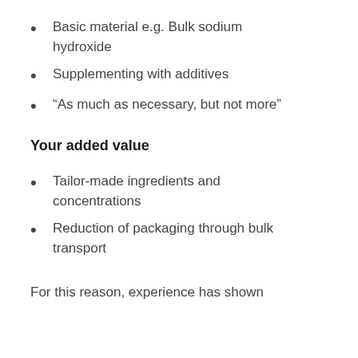Basic material e.g. Bulk sodium hydroxide
Supplementing with additives
“As much as necessary, but not more”
Your added value
Tailor-made ingredients and concentrations
Reduction of packaging through bulk transport
For this reason, experience has shown